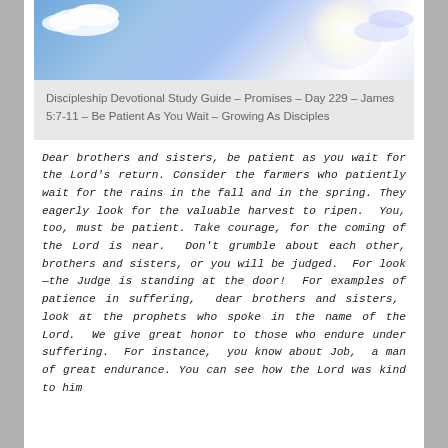[Figure (photo): Blue sky with white clouds and bright sun/light rays shining from the right]
Discipleship Devotional Study Guide – Promises – Day 229 – James 5:7-11 – Be Patient As You Wait – Growing As Disciples
Dear brothers and sisters, be patient as you wait for the Lord's return. Consider the farmers who patiently wait for the rains in the fall and in the spring. They eagerly look for the valuable harvest to ripen.  You, too, must be patient. Take courage, for the coming of the Lord is near.  Don't grumble about each other, brothers and sisters, or you will be judged.  For look—the Judge is standing at the door!  For examples of patience in suffering, dear brothers and sisters, look at the prophets who spoke in the name of the Lord.  We give great honor to those who endure under suffering.  For instance, you know about Job, a man of great endurance. You can see how the Lord was kind to him...